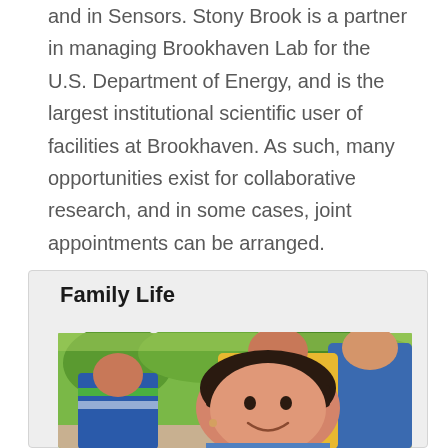and in Sensors. Stony Brook is a partner in managing Brookhaven Lab for the U.S. Department of Energy, and is the largest institutional scientific user of facilities at Brookhaven. As such, many opportunities exist for collaborative research, and in some cases, joint appointments can be arranged.
Family Life
[Figure (photo): A family photo outdoors showing a smiling young girl in the foreground with dark hair and bangs, a woman smiling behind her, a young boy in a blue and green striped shirt, and a man in a blue shirt, with trees in the background.]